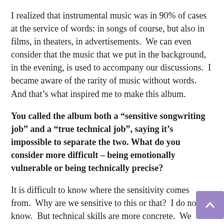I realized that instrumental music was in 90% of cases at the service of words: in songs of course, but also in films, in theaters, in advertisements.  We can even consider that the music that we put in the background, in the evening, is used to accompany our discussions.  I became aware of the rarity of music without words.  And that's what inspired me to make this album.
You called the album both a “sensitive songwriting job” and a “true technical job”, saying it’s impossible to separate the two. What do you consider more difficult – being emotionally vulnerable or being technically precise?
It is difficult to know where the sensitivity comes from.  Why are we sensitive to this or that?  I do not know.  But technical skills are more concrete.  We understand, we learn, we improve.
I also believe that technique feeds sensitivity.  The more technically precise we are, the more sensitive and fine work we